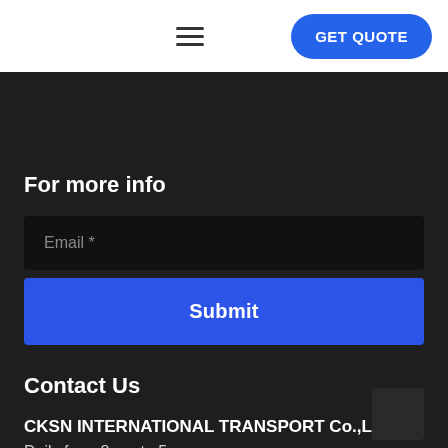☰  GET QUOTE
For more info
Email *
Submit
Contact Us
CKSN INTERNATIONAL TRANSPORT Co.,Ltd.
Daily from 8 am to 5 pm